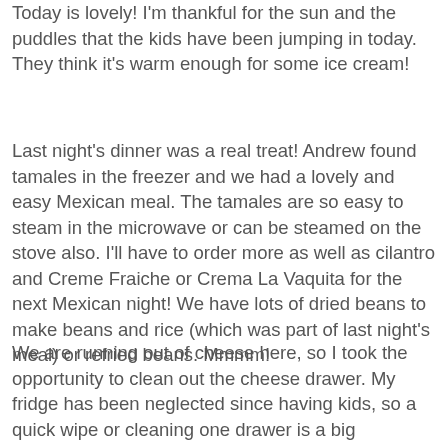Today is lovely! I'm thankful for the sun and the puddles that the kids have been jumping in today. They think it's warm enough for some ice cream!
Last night's dinner was a real treat! Andrew found tamales in the freezer and we had a lovely and easy Mexican meal. The tamales are so easy to steam in the microwave or can be steamed on the stove also. I'll have to order more as well as cilantro and Creme Fraiche or Crema La Vaquita for the next Mexican night! We have lots of dried beans to make beans and rice (which was part of last night's meal) or refried beans. Mmmm!
We are running out of cheese here, so I took the opportunity to clean out the cheese drawer. My fridge has been neglected since having kids, so a quick wipe or cleaning one drawer is a big accomplishment some